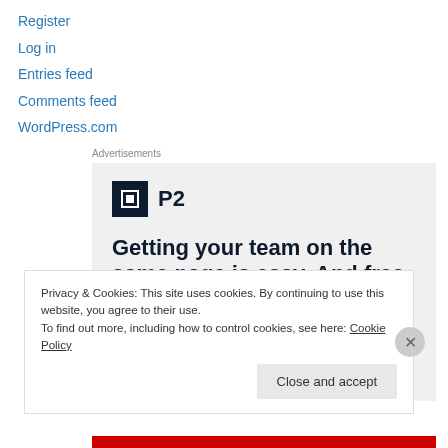Register
Log in
Entries feed
Comments feed
WordPress.com
Advertisements
[Figure (infographic): P2 advertisement: logo with bold headline 'Getting your team on the same page is easy. And free.']
Privacy & Cookies: This site uses cookies. By continuing to use this website, you agree to their use.
To find out more, including how to control cookies, see here: Cookie Policy
Close and accept